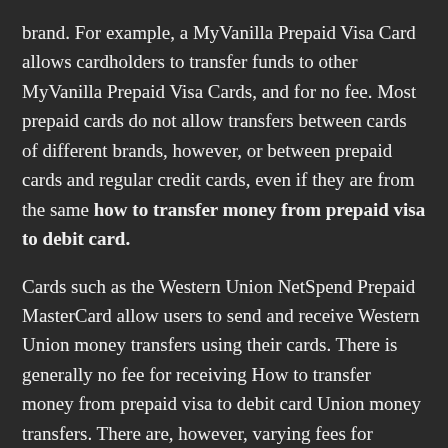brand. For example, a MyVanilla Prepaid Visa Card allows cardholders to transfer funds to other MyVanilla Prepaid Visa Cards, and for no fee. Most prepaid cards do not allow transfers between cards of different brands, however, or between prepaid cards and regular credit cards, even if they are from the same how to transfer money from prepaid visa to debit card.
Cards such as the Western Union NetSpend Prepaid MasterCard allow users to send and receive Western Union money transfers using their cards. There is generally no fee for receiving How to transfer money from prepaid visa to debit card Union money transfers. There are, however, varying fees for sending Western Union money transfers.
Источник:
https://...